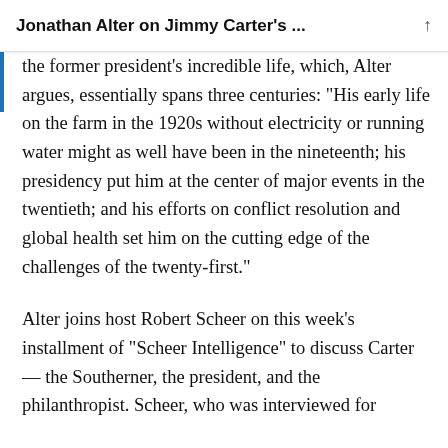Jonathan Alter on Jimmy Carter's ...
the former president's incredible life, which, Alter argues, essentially spans three centuries: “His early life on the farm in the 1920s without electricity or running water might as well have been in the nineteenth; his presidency put him at the center of major events in the twentieth; and his efforts on conflict resolution and global health set him on the cutting edge of the challenges of the twenty-first.”
Alter joins host Robert Scheer on this week’s installment of “Scheer Intelligence” to discuss Carter — the Southerner, the president, and the philanthropist. Scheer, who was interviewed for